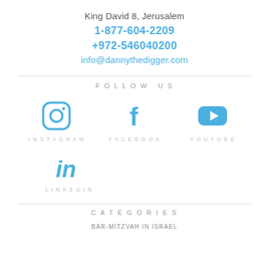King David 8, Jerusalem
1-877-604-2209
+972-546040200
info@dannythedigger.com
FOLLOW US
[Figure (logo): Instagram icon (blue outline camera)]
[Figure (logo): Facebook icon (blue f)]
[Figure (logo): YouTube icon (blue play button)]
[Figure (logo): LinkedIn icon (blue in)]
CATEGORIES
BAR-MITZVAH IN ISRAEL